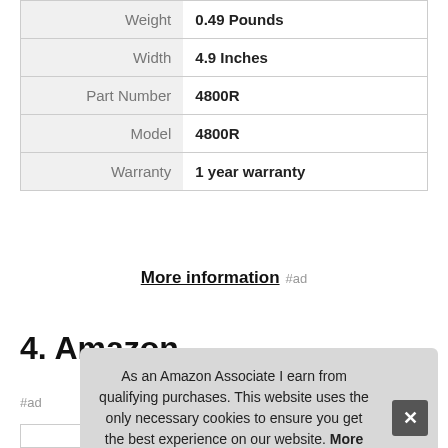|  |  |
| --- | --- |
| Weight | 0.49 Pounds |
| Width | 4.9 Inches |
| Part Number | 4800R |
| Model | 4800R |
| Warranty | 1 year warranty |
More information #ad
4. Amazon
As an Amazon Associate I earn from qualifying purchases. This website uses the only necessary cookies to ensure you get the best experience on our website. More information